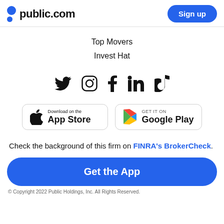public.com  Sign up
Top Movers
Invest Hat
[Figure (illustration): Social media icons: Twitter, Instagram, Facebook, LinkedIn, TikTok]
[Figure (illustration): Download on the App Store and GET IT ON Google Play buttons]
Check the background of this firm on FINRA's BrokerCheck.
Get the App
© Copyright 2022 Public Holdings, Inc. All Rights Reserved.